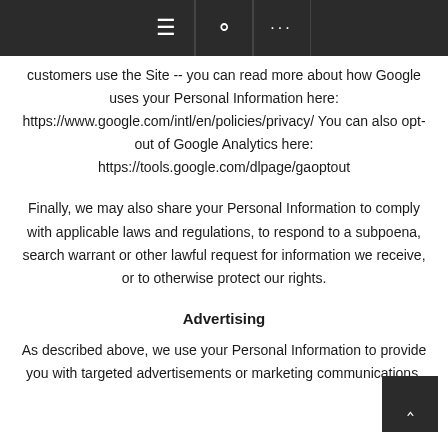≡ 🔍 ...
customers use the Site -- you can read more about how Google uses your Personal Information here: https://www.google.com/intl/en/policies/privacy/ You can also opt-out of Google Analytics here: https://tools.google.com/dlpage/gaoptout
Finally, we may also share your Personal Information to comply with applicable laws and regulations, to respond to a subpoena, search warrant or other lawful request for information we receive, or to otherwise protect our rights.
Advertising
As described above, we use your Personal Information to provide you with targeted advertisements or marketing communications.